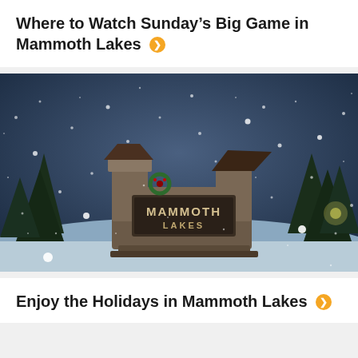Where to Watch Sunday's Big Game in Mammoth Lakes
[Figure (photo): Snowy winter scene showing the Mammoth Lakes entrance sign — a large stone monument with 'MAMMOTH LAKES' text and holiday wreath — surrounded by snow-covered trees in a heavy snowstorm at dusk/night.]
Enjoy the Holidays in Mammoth Lakes